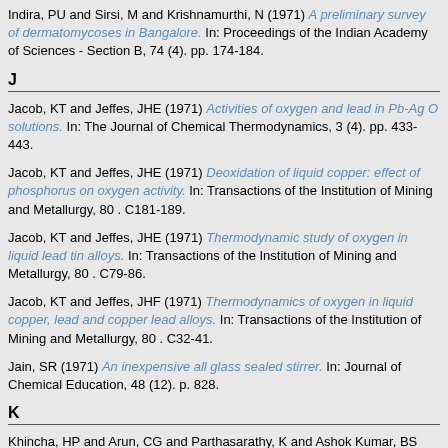Indira, PU and Sirsi, M and Krishnamurthi, N (1971) A preliminary survey of dermatomycoses in Bangalore. In: Proceedings of the Indian Academy of Sciences - Section B, 74 (4). pp. 174-184.
J
Jacob, KT and Jeffes, JHE (1971) Activities of oxygen and lead in Pb-Ag O solutions. In: The Journal of Chemical Thermodynamics, 3 (4). pp. 433-443.
Jacob, KT and Jeffes, JHE (1971) Deoxidation of liquid copper: effect of phosphorus on oxygen activity. In: Transactions of the Institution of Mining and Metallurgy, 80 . C181-189.
Jacob, KT and Jeffes, JHE (1971) Thermodynamic study of oxygen in liquid lead tin alloys. In: Transactions of the Institution of Mining and Metallurgy, 80 . C79-86.
Jacob, KT and Jeffes, JHF (1971) Thermodynamics of oxygen in liquid copper, lead and copper lead alloys. In: Transactions of the Institution of Mining and Metallurgy, 80 . C32-41.
Jain, SR (1971) An inexpensive all glass sealed stirrer. In: Journal of Chemical Education, 48 (12). p. 828.
K
Khincha, HP and Arun, CG and Parthasarathy, K and Ashok Kumar, BS (1971) Hybrid Comparison Technique for Distance Relays. In: IEEE Transactions on Power Apparatus and Systems, PAS-90 (4). pp. 599-607.